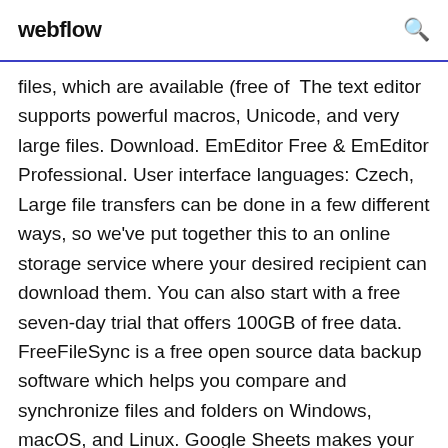webflow
files, which are available (free of  The text editor supports powerful macros, Unicode, and very large files. Download. EmEditor Free & EmEditor Professional. User interface languages: Czech,  Large file transfers can be done in a few different ways, so we've put together this to an online storage service where your desired recipient can download them. You can also start with a free seven-day trial that offers 100GB of free data. FreeFileSync is a free open source data backup software which helps you compare and synchronize files and folders on Windows, macOS, and Linux. Google Sheets makes your